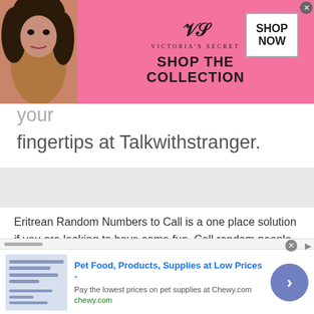[Figure (screenshot): Victoria's Secret advertisement banner with model photo, VS logo, 'SHOP THE COLLECTION' text and 'SHOP NOW' button on pink background]
perks of a free chatroom. It's on your fingertips at Talkwithstranger.
Eritrean Random Numbers to Call is a one place solution if you are looking to have some fun. Call random people and chat up with them however you wish. You can call random people from your mobile and quickly fix getting
[Figure (screenshot): Chewy.com advertisement - Pet Food, Products, Supplies at Low Prices. Pay the lowest prices on pet supplies at Chewy.com]